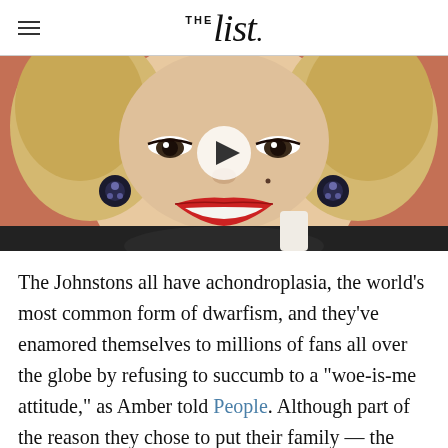THE List.
[Figure (photo): Close-up photo of a blonde woman (resembling Marilyn Monroe) smiling with red lipstick and dark jeweled earrings, against a reddish-pink background. A video play button is overlaid in the center.]
The Johnstons all have achondroplasia, the world's most common form of dwarfism, and they've enamored themselves to millions of fans all over the globe by refusing to succumb to a "woe-is-me attitude," as Amber told People. Although part of the reason they chose to put their family — the largest of its kind in existence to date — on television was to